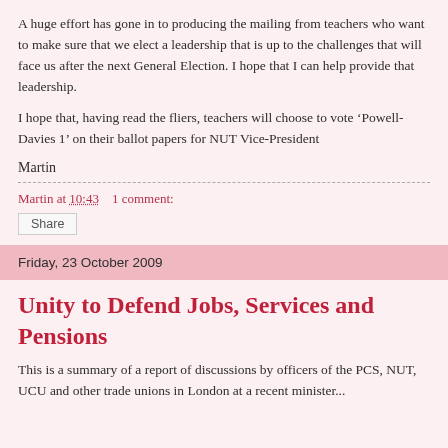A huge effort has gone in to producing the mailing from teachers who want to make sure that we elect a leadership that is up to the challenges that will face us after the next General Election. I hope that I can help provide that leadership.
I hope that, having read the fliers, teachers will choose to vote ‘Powell-Davies 1’ on their ballot papers for NUT Vice-President
Martin
Martin at 10:43    1 comment:
Share
Friday, 23 October 2009
Unity to Defend Jobs, Services and Pensions
This is a summary of a report of discussions by officers of the PCS, NUT, UCU and other trade unions in London at a recent minister...